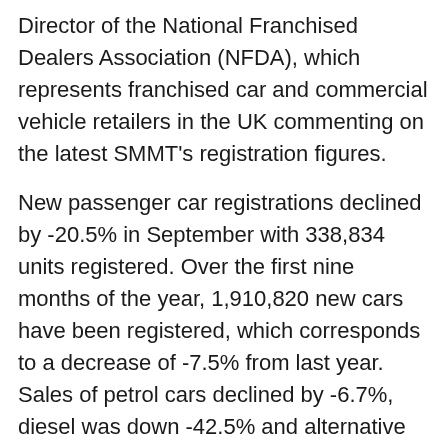Director of the National Franchised Dealers Association (NFDA), which represents franchised car and commercial vehicle retailers in the UK commenting on the latest SMMT's registration figures.
New passenger car registrations declined by -20.5% in September with 338,834 units registered. Over the first nine months of the year, 1,910,820 new cars have been registered, which corresponds to a decrease of -7.5% from last year. Sales of petrol cars declined by -6.7%, diesel was down -42.5% and alternative fuel vehicles grew by 3.9%.
The introduction of the Worldwide Harmonised Light Vehicle Test Procedure (WLTP) in September has affected not only the UK but